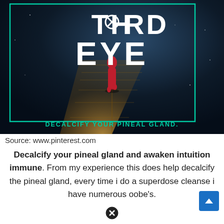[Figure (illustration): Dark atmospheric image of a person in a red robe walking on a wooden dock/bridge, with large bold white text 'THIRD EYE' overlaid (a small circled X replaces the 'I' dot in THIRD), a teal rectangular border frame, and teal text at the bottom reading 'DECALCIFY YOUR PINEAL GLAND']
Source: www.pinterest.com
Decalcify your pineal gland and awaken intuition immune. From my experience this does help decalcify the pineal gland, every time i do a superdose cleanse i have numerous oobe's.